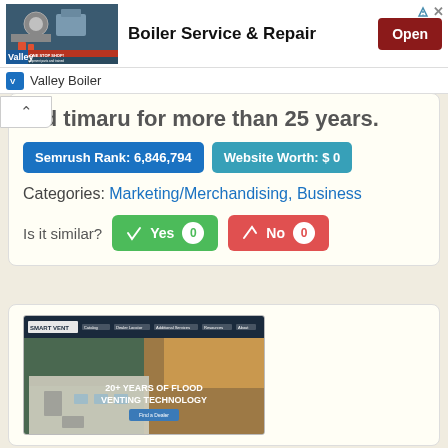[Figure (screenshot): Valley Boiler advertisement banner showing industrial boiler equipment with 'Boiler Service & Repair' text and Open button]
Valley Boiler
ard timaru for more than 25 years.
Semrush Rank: 6,846,794
Website Worth: $ 0
Categories: Marketing/Merchandising, Business
Is it similar?   Yes 0   No 0
Scroll Top
[Figure (screenshot): Smart Vent website screenshot showing '20+ YEARS OF FLOOD VENTING TECHNOLOGY' with 'Find a Dealer' button, navigation bar with Catalog, Dealer Locator, Additional Services, Resources, About]